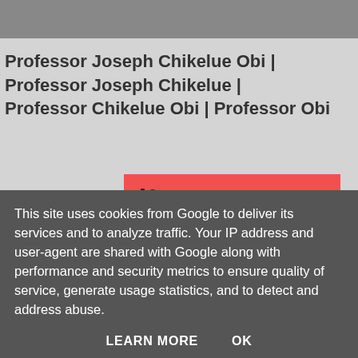Professor Joseph Chikelue Obi | Professor Joseph Chikelue | Professor Chikelue Obi | Professor Obi
[Figure (other): Red 'Become a patron' Patreon button with Patreon logo icon on the left]
Doctor Joseph Obi | Alternative Medicine | Dr Obi | Alternative...
This site uses cookies from Google to deliver its services and to analyze traffic. Your IP address and user-agent are shared with Google along with performance and security metrics to ensure quality of service, generate usage statistics, and to detect and address abuse.
LEARN MORE   OK